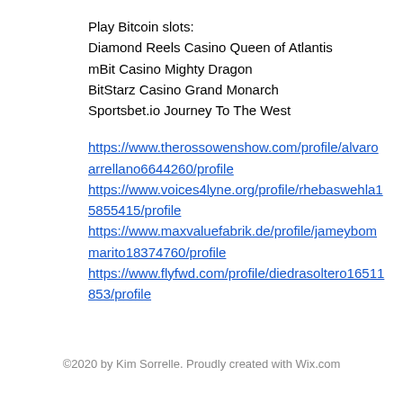Play Bitcoin slots:
Diamond Reels Casino Queen of Atlantis
mBit Casino Mighty Dragon
BitStarz Casino Grand Monarch
Sportsbet.io Journey To The West
https://www.therossowenshow.com/profile/alvaroarrellano6644260/profile
https://www.voices4lyne.org/profile/rhebaswehla15855415/profile
https://www.maxvaluefabrik.de/profile/jameybommarito18374760/profile
https://www.flyfwd.com/profile/diedrasoltero16511853/profile
©2020 by Kim Sorrelle. Proudly created with Wix.com